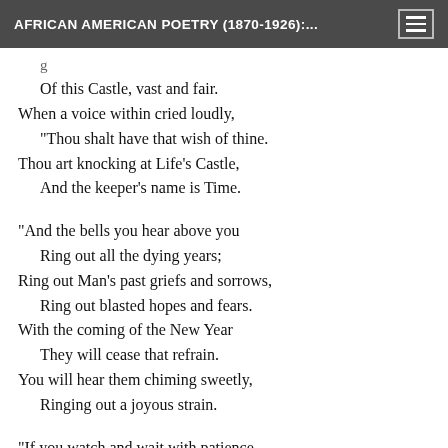AFRICAN AMERICAN POETRY (1870-1926):...
Of this Castle, vast and fair.
When a voice within cried loudly,
  "Thou shalt have that wish of thine.
Thou art knocking at Life's Castle,
  And the keeper's name is Time.

"And the bells you hear above you
  Ring out all the dying years;
Ring out Man's past griefs and sorrows,
  Ring out blasted hopes and fears.
With the coming of the New Year
  They will cease that refrain.
You will hear them chiming sweetly,
  Ringing out a joyous strain.

"If you watch and wait with patience,